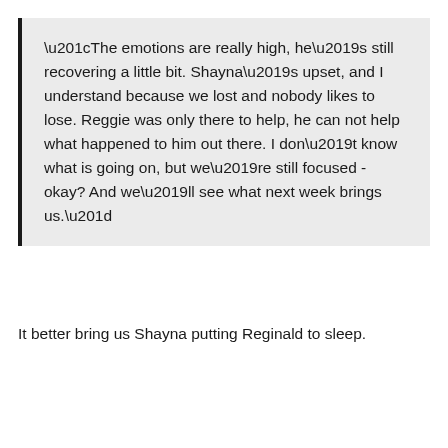“The emotions are really high, he’s still recovering a little bit. Shayna’s upset, and I understand because we lost and nobody likes to lose. Reggie was only there to help, he can not help what happened to him out there. I don’t know what is going on, but we’re still focused - okay? And we’ll see what next week brings us.”
It better bring us Shayna putting Reginald to sleep.